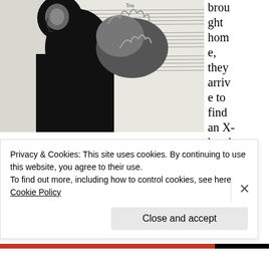[Figure (photo): Black and white photo of a man holding his hands up near his face against a musical score background]
brought home, they arrive to find an X-handed knife stuck in their apartment door (Rosine also sees Spectropheles). Already distraught, Stephen
Privacy & Cookies: This site uses cookies. By continuing to use this website, you agree to their use.
To find out more, including how to control cookies, see here: Cookie Policy
Close and accept